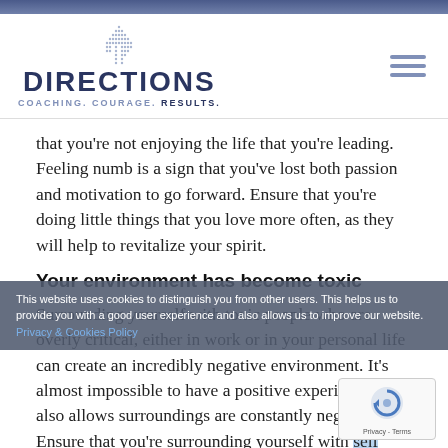[Figure (logo): Directions Coaching logo with dotted house/arrow icon above text reading DIRECTIONS COACHING. COURAGE. RESULTS.]
that you're not enjoying the life that you're leading. Feeling numb is a sign that you've lost both passion and motivation to go forward. Ensure that you're doing little things that you love more often, as they will help to revitalize your spirit.
Your environment has become toxic
Surrounding yourself with toxic people who are overly critical, either in work or in your personal life can create an incredibly negative environment. It's almost impossible to have a positive experience and also allows surroundings are constantly negative. Ensure that you're surrounding yourself with the right people and ask yourself: Do these people have the same
This website uses cookies to distinguish you from other users. This helps us to provide you with a good user experience and also allows us to improve our website. Privacy & Cookies Policy